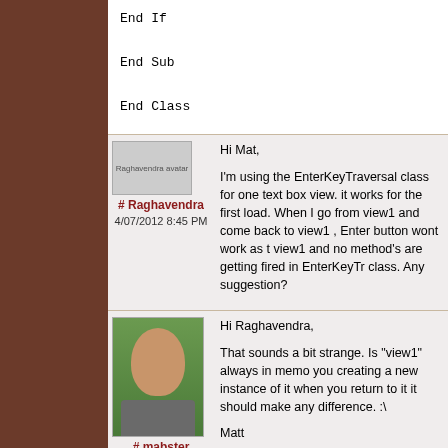End If

End Sub

End Class
Hi Mat,

I'm using the EnterKeyTraversal class for one text box view. it works for the first load. When I go from view1 and come back to view1 , Enter button wont work as t view1 and no method's are getting fired in EnterKeyTr class. Any suggestion?
# Raghavendra
4/07/2012 8:45 PM
Hi Raghavendra,

That sounds a bit strange. Is "view1" always in memo you creating a new instance of it when you return to it it should make any difference. :\

Matt
# mabster
5/07/2012 8:22 AM